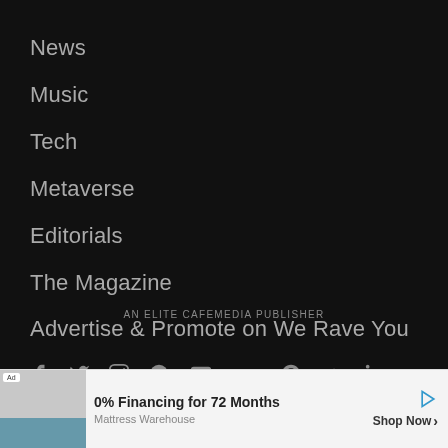News
Music
Tech
Metaverse
Editorials
The Magazine
Advertise & Promote on We Rave You
[Figure (infographic): Row of social media icons: Facebook, Twitter, Instagram, Spotify, YouTube, SoundCloud, Pinterest, VK, LinkedIn]
AN ELITE CAFEMEDIA PUBLISHER
[Figure (infographic): Advertisement bar: Ad badge, mattress image, '0% Financing for 72 Months', 'Mattress Warehouse', 'Shop Now >' button, play icon]